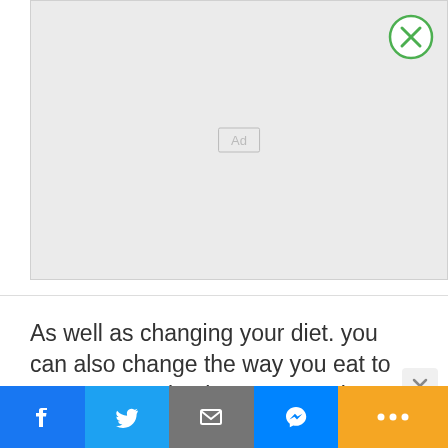[Figure (screenshot): Advertisement placeholder box with 'Ad' label and a green-ringed close (X) button in the top-right corner]
As well as changing your diet. you can also change the way you eat to prevent constipation. For people aged over 60, a
[Figure (screenshot): Social media share bar with Facebook, Twitter, Email, Messenger, and More (...) buttons]